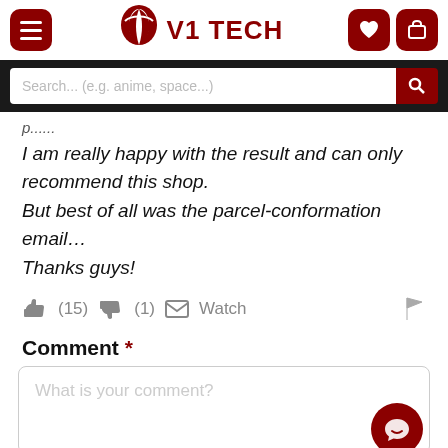[Figure (screenshot): V1 Tech website header with hamburger menu button on left, V1 Tech logo (leaf/shield icon + text) in center, heart and cart icons on right]
[Figure (screenshot): Search bar with placeholder text 'Search... (e.g. anime, space...)' and red search button]
I am really happy with the result and can only recommend this shop.
But best of all was the parcel-conformation email…
Thanks guys!
👍 (15)  👎 (1)  ✉ Watch  🚩
Comment *
What is your comment?